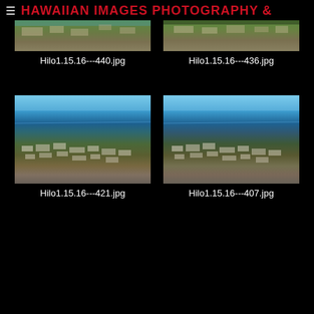≡ HAWAIIAN IMAGES PHOTOGRAPHY &
[Figure (photo): Aerial overhead view of Hilo, Hawaii showing streets, buildings and coastline, green vegetation]
Hilo1.15.16---440.jpg
[Figure (photo): Aerial overhead view of Hilo, Hawaii showing streets and buildings near ocean]
Hilo1.15.16---436.jpg
[Figure (photo): Aerial oblique view of Hilo city with blue ocean and horizon in background, clear blue sky]
Hilo1.15.16---421.jpg
[Figure (photo): Aerial oblique view of Hilo city with blue ocean and horizon in background, clear blue sky]
Hilo1.15.16---407.jpg